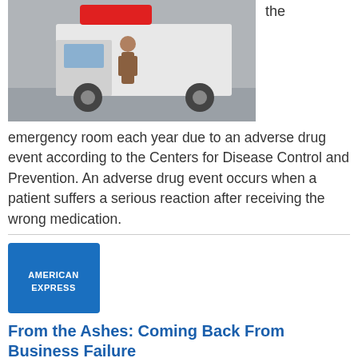[Figure (photo): Photo of a person standing in front of a large white truck/ambulance, with a red blurred label at the top center]
the
emergency room each year due to an adverse drug event according to the Centers for Disease Control and Prevention. An adverse drug event occurs when a patient suffers a serious reaction after receiving the wrong medication.
[Figure (logo): American Express logo — blue rectangle with white AMERICAN EXPRESS text]
From the Ashes: Coming Back From Business Failure
American Express
October 19, 2012
Despite popular myths, starting and growing a business is hard work. If most small-business owners actually could calculate the high risk